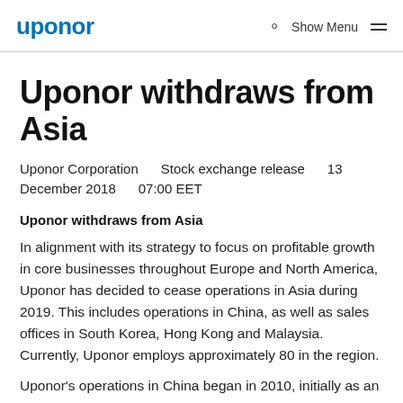uponor   Show Menu
Uponor withdraws from Asia
Uponor Corporation   Stock exchange release   13 December 2018   07:00 EET
Uponor withdraws from Asia
In alignment with its strategy to focus on profitable growth in core businesses throughout Europe and North America, Uponor has decided to cease operations in Asia during 2019. This includes operations in China, as well as sales offices in South Korea, Hong Kong and Malaysia. Currently, Uponor employs approximately 80 in the region.
Uponor's operations in China began in 2010, initially as an